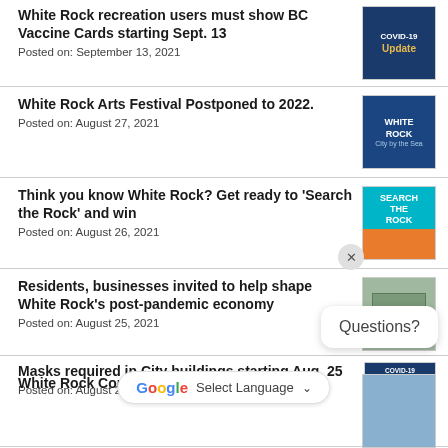White Rock recreation users must show BC Vaccine Cards starting Sept. 13
Posted on: September 13, 2021
White Rock Arts Festival Postponed to 2022.
Posted on: August 27, 2021
Think you know White Rock? Get ready to 'Search the Rock' and win
Posted on: August 26, 2021
Residents, businesses invited to help shape White Rock's post-pandemic economy
Posted on: August 25, 2021
Masks required in City buildings starting Aug. 25
Posted on: August 25, 2021
White Rock Community Policing host…